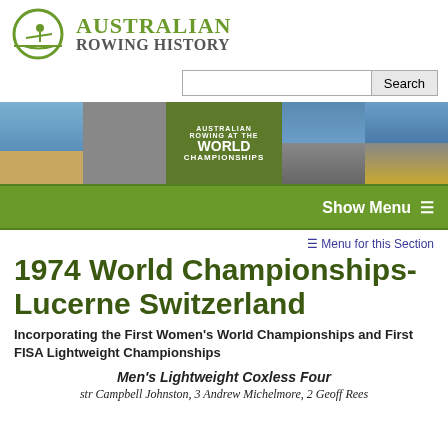[Figure (logo): Australian Rowing History logo with rower icon and green/grey text]
[Figure (photo): Banner with five photo segments: celebrating rowers, black and white historical rowers, green panel with 'Australian Rowing at the World Championships' text, solo rower racing, group of rowers with Australian flag]
Show Menu ≡
≡ Menu for this Section
1974 World Championships- Lucerne Switzerland
Incorporating the First Women's World Championships and First FISA Lightweight Championships
Men's Lightweight Coxless Four
str Campbell Johnston, 3 Andrew Michelmore, 2 Geoff Rees